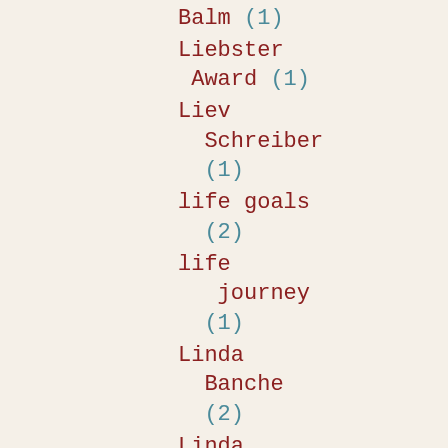Balm (1)
Liebster Award (1)
Liev Schreiber (1)
life goals (2)
life journey (1)
Linda Banche (2)
Linda Howard (4)
linkies (1)